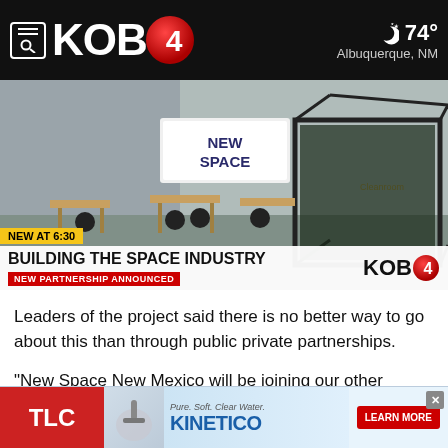KOB 4 — 74° Albuquerque, NM
[Figure (screenshot): TV news broadcast still showing a makerspace/cleanroom facility with workbenches and chairs. Lower third overlay reads: NEW AT 6:30 / BUILDING THE SPACE INDUSTRY / NEW PARTNERSHIP ANNOUNCED. KOB4 logo in bottom-right corner.]
Leaders of the project said there is no better way to go about this than through public private partnerships.
"New Space New Mexico will be joining our other partners, New Mexico Tech, New Mexico Trade Alliance, the Team o Ingenuity ... Mounce
[Figure (advertisement): TLC and Kinetico water advertisement. TLC logo in red, Kinetico brand name in blue, tagline Pure. Soft. Clear Water. LEARN MORE button in red.]